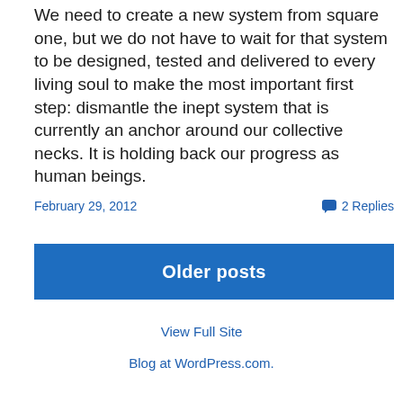We need to create a new system from square one, but we do not have to wait for that system to be designed, tested and delivered to every living soul to make the most important first step: dismantle the inept system that is currently an anchor around our collective necks. It is holding back our progress as human beings.
February 29, 2012
2 Replies
Older posts
View Full Site
Blog at WordPress.com.